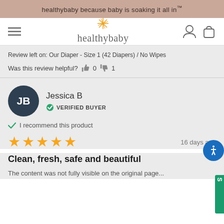healthybaby because baby is soaking it all in™
[Figure (logo): healthybaby logo with orange star burst above text]
Review left on: Our Diaper - Size 1 (42 Diapers) / No Wipes
Was this review helpful? 👍 0 👎 1
Jessica B
VERIFIED BUYER
I recommend this product
★★★★★  16 days ago
Clean, fresh, safe and beautiful